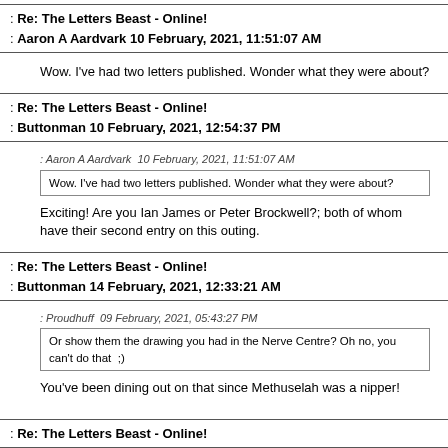Re: The Letters Beast - Online!
Aaron A Aardvark 10 February, 2021, 11:51:07 AM
Wow. I've had two letters published. Wonder what they were about?
Re: The Letters Beast - Online!
Buttonman 10 February, 2021, 12:54:37 PM
: Aaron A Aardvark  10 February, 2021, 11:51:07 AM
Wow. I've had two letters published. Wonder what they were about?

Exciting! Are you Ian James or Peter Brockwell?; both of whom have their second entry on this outing.
Re: The Letters Beast - Online!
Buttonman 14 February, 2021, 12:33:21 AM
: Proudhuff  09 February, 2021, 05:43:27 PM
Or show them the drawing you had in the Nerve Centre? Oh no, you can't do that  ;)

You've been dining out on that since Methuselah was a nipper!
Re: The Letters Beast - Online!